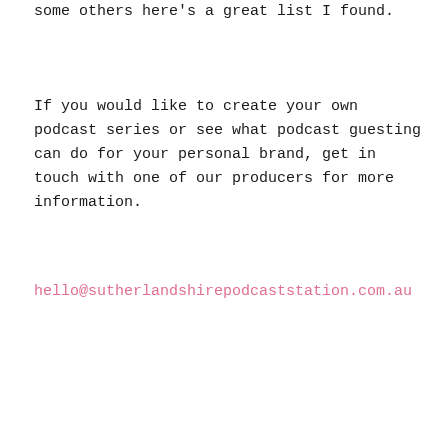some others here's a great list I found.
If you would like to create your own podcast series or see what podcast guesting can do for your personal brand, get in touch with one of our producers for more information.
hello@sutherlandshirepodcaststation.com.au